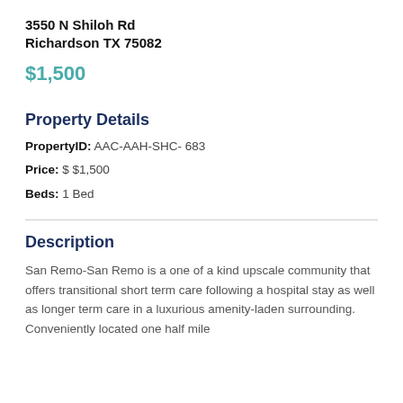3550 N Shiloh Rd
Richardson TX 75082
$1,500
Property Details
PropertyID: AAC-AAH-SHC- 683
Price: $ $1,500
Beds: 1 Bed
Description
San Remo-San Remo is a one of a kind upscale community that offers transitional short term care following a hospital stay as well as longer term care in a luxurious amenity-laden surrounding. Conveniently located one half mile